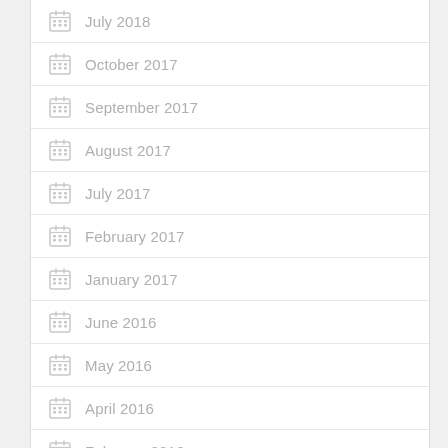July 2018
October 2017
September 2017
August 2017
July 2017
February 2017
January 2017
June 2016
May 2016
April 2016
February 2016